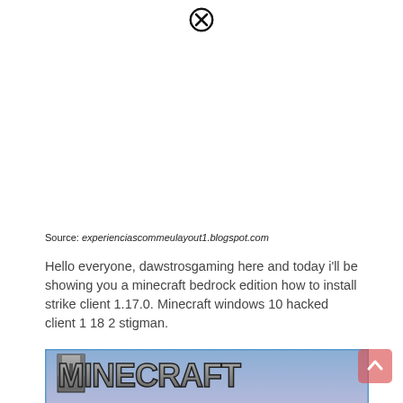[Figure (other): Close/dismiss button icon (circled X) at top center of page]
Source: experienciascommeulayout1.blogspot.com
Hello everyone, dawstrosgaming here and today i'll be showing you a minecraft bedrock edition how to install strike client 1.17.0. Minecraft windows 10 hacked client 1 18 2 stigman.
[Figure (photo): Minecraft Bedrock Edition logo banner image — blocky stone-textured letters spelling MINECRAFT with BEDROCK EDITION below]